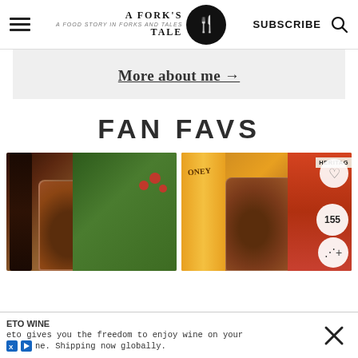A Fork's Tale — navigation bar with hamburger menu, logo, SUBSCRIBE, search icon
More about me →
FAN FAVS
[Figure (photo): A mason jar filled with dark balsamic vinaigrette dressing, with a salad of greens, croutons and cherry tomatoes in the background]
[Figure (photo): A mason jar filled with dark honey-based dressing next to a bottle of honey and a drink, with a heart/share overlay showing 155 saves]
ETO WINE
eto gives you the freedom to enjoy wine on your ne. Shipping now globally.